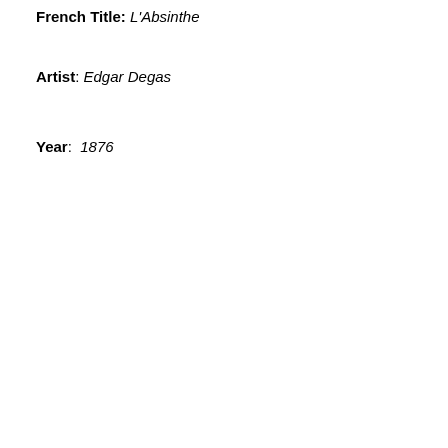French Title: L'Absinthe
Artist: Edgar Degas
Year: 1876